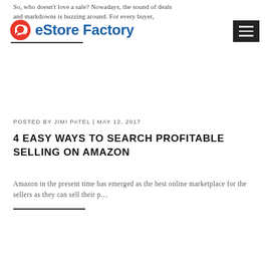So, who doesn't love a sale? Nowadays, the sound of deals and markdowns is buzzing around. For every buyer,
[Figure (logo): eStore Factory logo with red circular icon and blue bold text]
POSTED BY JIMI PATEL | MAY 12, 2017
4 EASY WAYS TO SEARCH PROFITABLE SELLING ON AMAZON
Amazon in the present time has emerged as the best online marketplace for the sellers as they can sell their p...